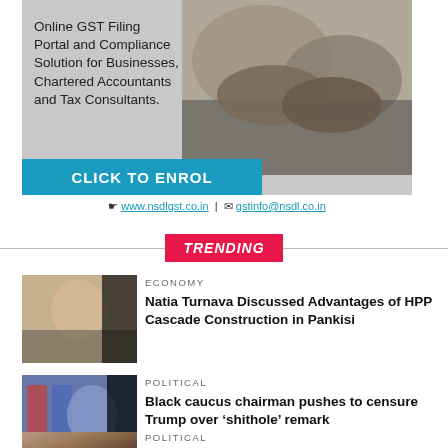[Figure (photo): Advertisement banner for NSDL GST filing portal showing handshake photo with text about Online GST Filing Portal and Compliance Solution for Businesses, Chartered Accountants and Tax Consultants. Includes CLICK TO ENROL button.]
www.nsdlgst.co.in | gstinfo@nsdl.co.in
TRENDING
ECONOMY
Natia Turnava Discussed Advantages of HPP Cascade Construction in Pankisi
POLITICAL
Black caucus chairman pushes to censure Trump over ‘shithole’ remark
POLITICAL